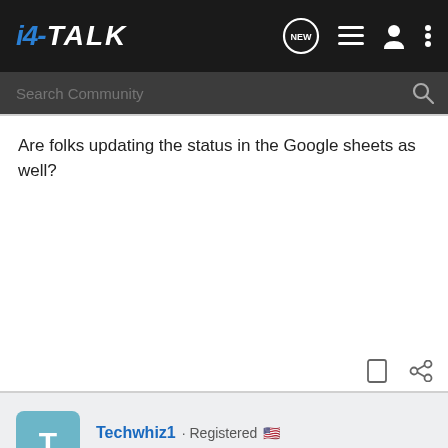i4-TALK
Are folks updating the status in the Google sheets as well?
Techwhiz1 · Registered · Joined Nov 10, 2021 · 1,419 Posts
#649 · Jun 15, 2022